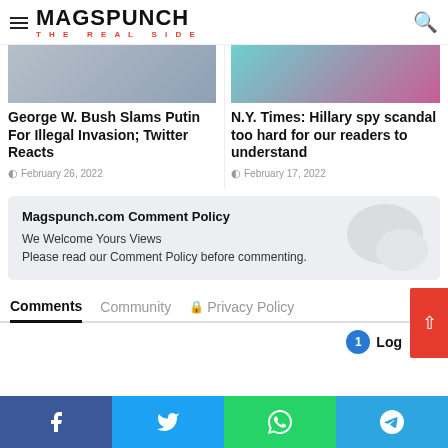MAGSPUNCH THE REAL SIDE
George W. Bush Slams Putin For Illegal Invasion; Twitter Reacts
February 26, 2022
N.Y. Times: Hillary spy scandal too hard for our readers to understand
February 17, 2022
Magspunch.com Comment Policy
We Welcome Yours Views
Please read our Comment Policy before commenting.
Comments  Community  Privacy Policy
1  Log